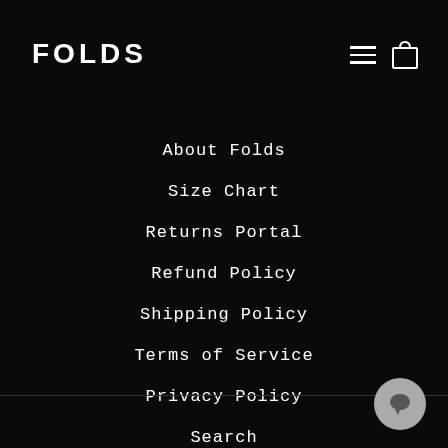FOLDS
About Folds
Size Chart
Returns Portal
Refund Policy
Shipping Policy
Terms of Service
Privacy Policy
Search
Contact